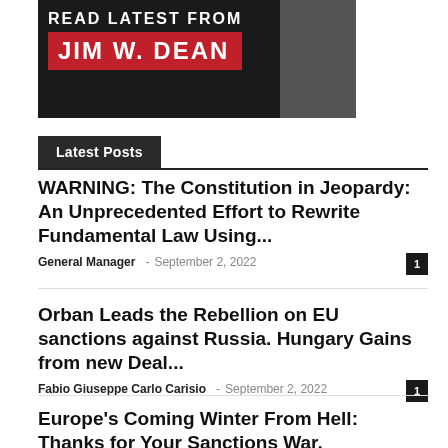[Figure (illustration): Banner for Jim W. Dean with dark background, red stripe, and grayscale portrait photo. Text reads 'Read Latest from JIM W. DEAN']
Latest Posts
WARNING: The Constitution in Jeopardy: An Unprecedented Effort to Rewrite Fundamental Law Using...
General Manager – September 2, 2022  [1 comment]
Orban Leads the Rebellion on EU sanctions against Russia. Hungary Gains from new Deal...
Fabio Giuseppe Carlo Carisio – September 2, 2022  [1 comment]
Europe's Coming Winter From Hell: Thanks for Your Sanctions War, Washington!